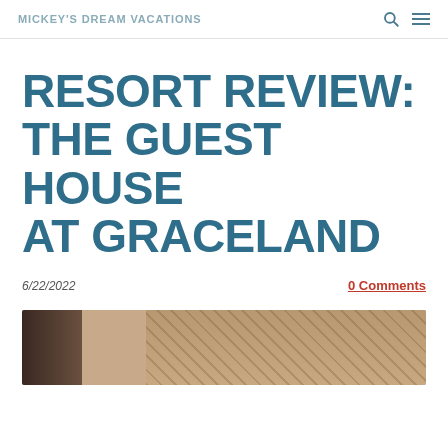MICKEY'S DREAM VACATIONS
RESORT REVIEW: THE GUEST HOUSE AT GRACELAND
6/22/2022
0 Comments
[Figure (photo): Interior photo of The Guest House at Graceland hotel room, showing dark wood paneling and decorative patterned wallcovering]